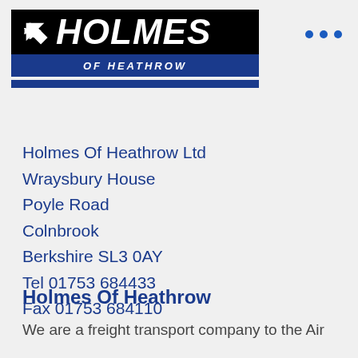[Figure (logo): Holmes of Heathrow company logo — white bold italic text on black background with airplane arrow icon, blue bar below reading OF HEATHROW, and a second thin blue bar]
Holmes Of Heathrow Ltd
Wraysbury House
Poyle Road
Colnbrook
Berkshire SL3 0AY
Tel 01753 684433
Fax 01753 684110
Holmes Of Heathrow
We are a freight transport company to the Air